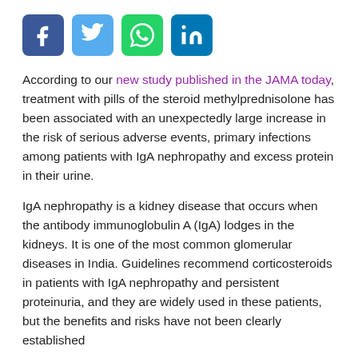[Figure (other): Social media sharing icons: Facebook (blue), Twitter (light blue), WhatsApp (green), LinkedIn (blue)]
According to our new study published in the JAMA today, treatment with pills of the steroid methylprednisolone has been associated with an unexpectedly large increase in the risk of serious adverse events, primary infections among patients with IgA nephropathy and excess protein in their urine.
IgA nephropathy is a kidney disease that occurs when the antibody immunoglobulin A (IgA) lodges in the kidneys. It is one of the most common glomerular diseases in India. Guidelines recommend corticosteroids in patients with IgA nephropathy and persistent proteinuria, and they are widely used in these patients, but the benefits and risks have not been clearly established
Dr Vivekanand Jha, our Executive Director and one of the authors associated with the study says that:
"Up to 30 % of all people with IgA